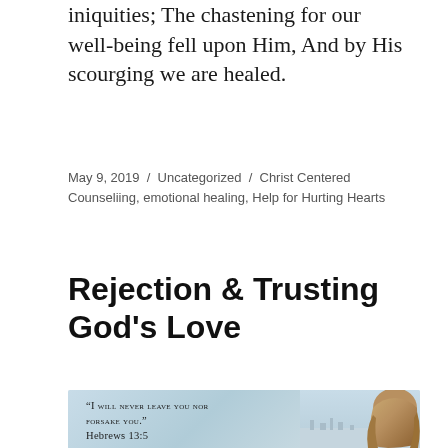iniquities; The chastening for our well-being fell upon Him, And by His scourging we are healed.
May 9, 2019 / Uncategorized / Christ Centered Counseliing, emotional healing, Help for Hurting Hearts
Rejection & Trusting God's Love
[Figure (photo): A photo with a woman with long hair viewed from behind against a cityscape background, with text overlay: “I will never leave you nor forsake you.” Hebrews 13:5]